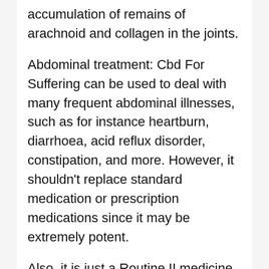accumulation of remains of arachnoid and collagen in the joints.
Abdominal treatment: Cbd For Suffering can be used to deal with many frequent abdominal illnesses, such as for instance heartburn, diarrhoea, acid reflux disorder, constipation, and more. However, it shouldn't replace standard medication or prescription medications since it may be extremely potent.
Also, it is just a Routine II medicine, meaning it's many critical negative effects, including liver damage and